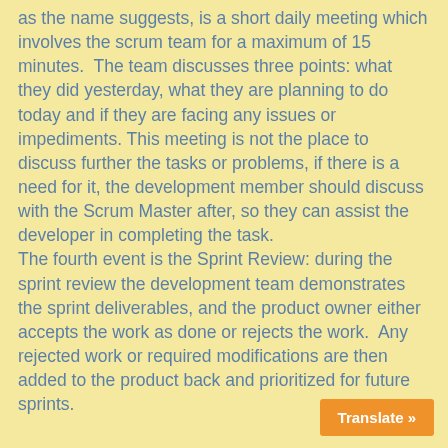as the name suggests, is a short daily meeting which involves the scrum team for a maximum of 15 minutes.  The team discusses three points: what they did yesterday, what they are planning to do today and if they are facing any issues or impediments. This meeting is not the place to discuss further the tasks or problems, if there is a need for it, the development member should discuss with the Scrum Master after, so they can assist the developer in completing the task. The fourth event is the Sprint Review: during the sprint review the development team demonstrates the sprint deliverables, and the product owner either accepts the work as done or rejects the work.  Any rejected work or required modifications are then added to the product backlog and prioritized for future sprints.
Translate »